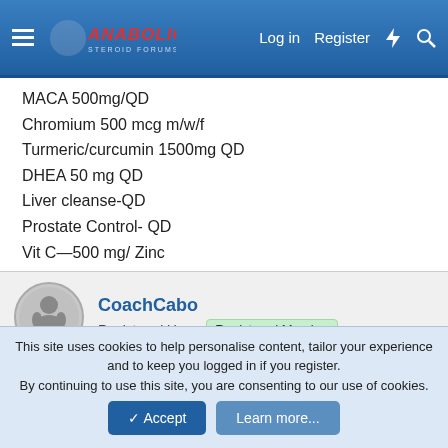Anabolic Steroid Forums — Log in | Register
MACA 500mg/QD
Chromium 500 mcg m/w/f
Turmeric/curcumin 1500mg QD
DHEA 50 mg QD
Liver cleanse-QD
Prostate Control- QD
Vit C—500 mg/ Zinc
CoachCabo — Registered User — Registered Member
Jul 15, 2022  #147
You can't run from that old man skin. Lol!
This site uses cookies to help personalise content, tailor your experience and to keep you logged in if you register.
By continuing to use this site, you are consenting to our use of cookies.